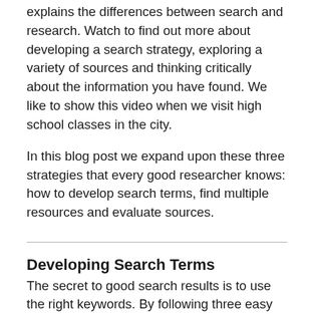explains the differences between search and research. Watch to find out more about developing a search strategy, exploring a variety of sources and thinking critically about the information you have found. We like to show this video when we visit high school classes in the city.
In this blog post we expand upon these three strategies that every good researcher knows: how to develop search terms, find multiple resources and evaluate sources.
Developing Search Terms
The secret to good search results is to use the right keywords. By following three easy steps, you can figure out the keywords relevant to your research topic.